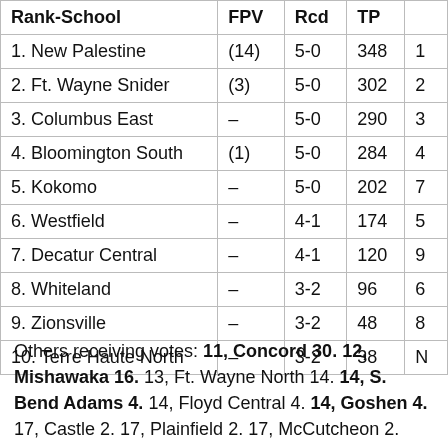| Rank-School | FPV | Rcd | TP |  |
| --- | --- | --- | --- | --- |
| 1. New Palestine | (14) | 5-0 | 348 | 1 |
| 2. Ft. Wayne Snider | (3) | 5-0 | 302 | 2 |
| 3. Columbus East | – | 5-0 | 290 | 3 |
| 4. Bloomington South | (1) | 5-0 | 284 | 4 |
| 5. Kokomo | – | 5-0 | 202 | 7 |
| 6. Westfield | – | 4-1 | 174 | 5 |
| 7. Decatur Central | – | 4-1 | 120 | 9 |
| 8. Whiteland | – | 3-2 | 96 | 6 |
| 9. Zionsville | – | 3-2 | 48 | 8 |
| 10. Terre Haute North | – | 3-2 | 38 | N |
Others receiving votes: 11, Concord 30. 12, Mishawaka 16. 13, Ft. Wayne North 14. 14, S. Bend Adams 4. 14, Floyd Central 4. 14, Goshen 4. 17, Castle 2. 17, Plainfield 2. 17, McCutcheon 2.